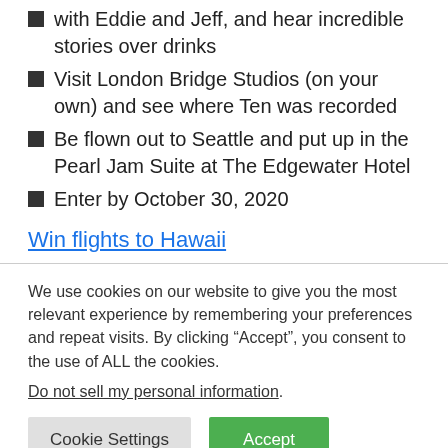with Eddie and Jeff, and hear incredible stories over drinks
Visit London Bridge Studios (on your own) and see where Ten was recorded
Be flown out to Seattle and put up in the Pearl Jam Suite at The Edgewater Hotel
Enter by October 30, 2020
Win flights to Hawaii
We use cookies on our website to give you the most relevant experience by remembering your preferences and repeat visits. By clicking “Accept”, you consent to the use of ALL the cookies.
Do not sell my personal information.